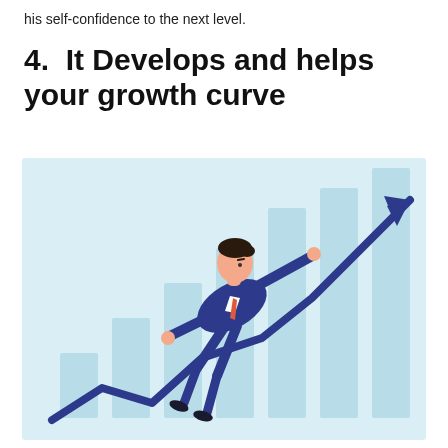his self-confidence to the next level.
4.  It Develops and helps your growth curve
[Figure (illustration): Flat vector illustration of a businessman in a dark blue suit and red tie, flying/soaring upward alongside a rising bar chart with an upward arrow, symbolizing growth and ambition. Light blue background with teal-tinted bar chart bars.]